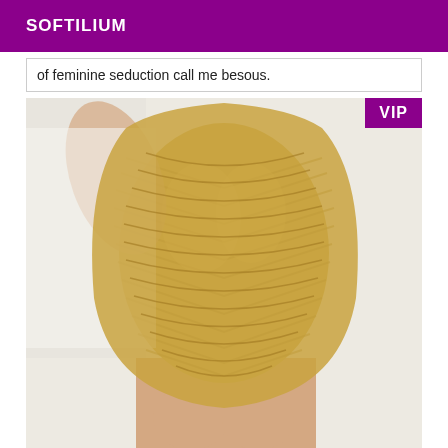SOFTILIUM
of feminine seduction call me besous.
[Figure (photo): Person wearing a gold/beige sheer knit bodysuit or top with chevron pattern, photographed against a white background. A purple VIP badge appears in the top-right corner of the image.]